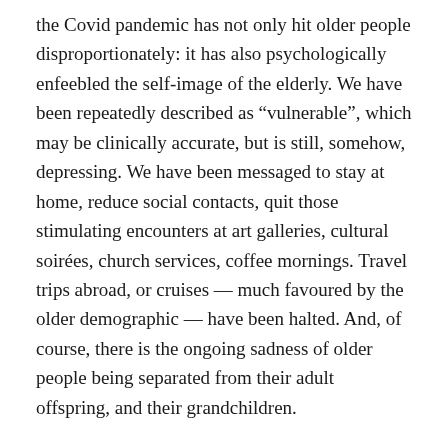the Covid pandemic has not only hit older people disproportionately: it has also psychologically enfeebled the self-image of the elderly. We have been repeatedly described as “vulnerable”, which may be clinically accurate, but is still, somehow, depressing. We have been messaged to stay at home, reduce social contacts, quit those stimulating encounters at art galleries, cultural soirées, church services, coffee mornings. Travel trips abroad, or cruises — much favoured by the older demographic — have been halted. And, of course, there is the ongoing sadness of older people being separated from their adult offspring, and their grandchildren.
Everyone understands that sensible measures have to be taken during the spread of the virus, and older people usually behave responsibly. But it’s dismaying that the typical picture of the 70-somethings has been degraded